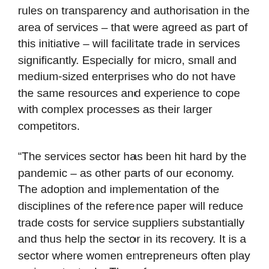rules on transparency and authorisation in the area of services – that were agreed as part of this initiative – will facilitate trade in services significantly. Especially for micro, small and medium-sized enterprises who do not have the same resources and experience to cope with complex processes as their larger competitors.
“The services sector has been hit hard by the pandemic – as other parts of our economy. The adoption and implementation of the disciplines of the reference paper will reduce trade costs for service suppliers substantially and thus help the sector in its recovery. It is a sector where women entrepreneurs often play an important role. The reference paper recognises this role by ensuring non-discrimination between men and women in authorisation processes. This is the first rule of this kind in the WTO.
“Delivering on the WTO services agenda is a long